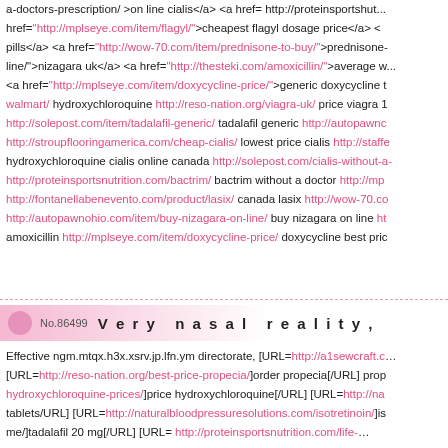a-doctors-prescription/ >on line cialis</a> <a href= http://proteinsportsnut... href="http://mplseye.com/item/flagyl/">cheapest flagyl dosage price</a> < pills</a> <a href="http://wow-70.com/item/prednisone-to-buy/">prednisone-... line/">nizagara uk</a> <a href="http://thesteki.com/amoxicillin/">average w... <a href="http://mplseye.com/item/doxycycline-price/">generic doxycycline t walmart/ hydroxychloroquine http://reso-nation.org/viagra-uk/ price viagra 1 http://solepost.com/item/tadalafil-generic/ tadalafil generic http://autopawno... http://stroupflooringamerica.com/cheap-cialis/ lowest price cialis http://staff... hydroxychloroquine cialis online canada http://solepost.com/cialis-without-a-... http://proteinsportsnutrition.com/bactrim/ bactrim without a doctor http://mp... http://fontanellabenevento.com/product/lasix/ canada lasix http://wow-70.co... http://autopawnohio.com/item/buy-nizagara-on-line/ buy nizagara on line ht... amoxicillin http://mplseye.com/item/doxycycline-price/ doxycycline best pric...
No.86499   Very nasal reality,
Effective ngm.mtqx.h3x.xsrv.jp.lfn.ym directorate, [URL=http://a1sewcraft.c... [URL=http://reso-nation.org/best-price-propecia/]order propecia[/URL] prop hydroxychloroquine-prices/]price hydroxychloroquine[/URL] [URL=http://na... tablets/URL] [URL=http://naturalbloodpressuresolutions.com/isotretinoin/]is me/]tadalafil 20 mg[/URL] [URL= http://proteinsportsnutrition.com/life-...